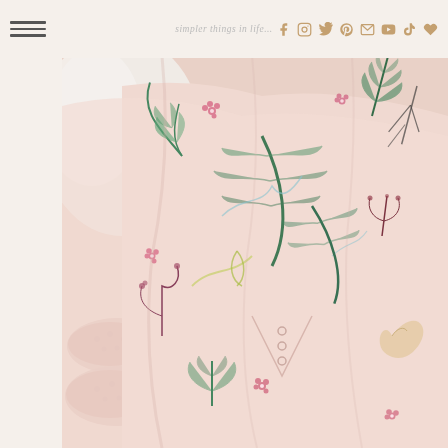simpler things in life...
[Figure (photo): Flatlay photo of pink floral/botanical print pajamas or robe with green leaf and plant patterns, laid on white bedding, with pink fuzzy slippers visible on the left side. The fabric features a detailed botanical illustration print with flowers, ferns, and tropical plants in green, pink, and gold on a light pink background.]